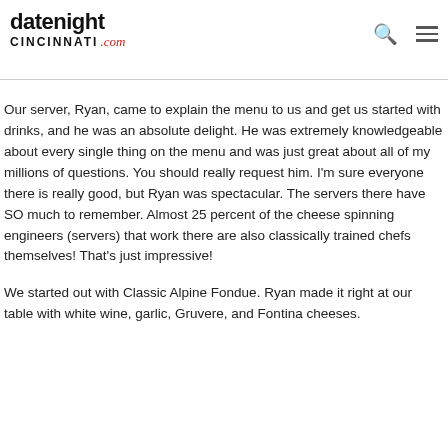datenightCincinnati.com
Our server, Ryan, came to explain the menu to us and get us started with drinks, and he was an absolute delight. He was extremely knowledgeable about every single thing on the menu and was just great about all of my millions of questions. You should really request him. I'm sure everyone there is really good, but Ryan was spectacular. The servers there have SO much to remember. Almost 25 percent of the cheese spinning engineers (servers) that work there are also classically trained chefs themselves! That's just impressive!
We started out with Classic Alpine Fondue. Ryan made it right at our table with white wine, garlic, Gruvere, and Fontina cheeses.